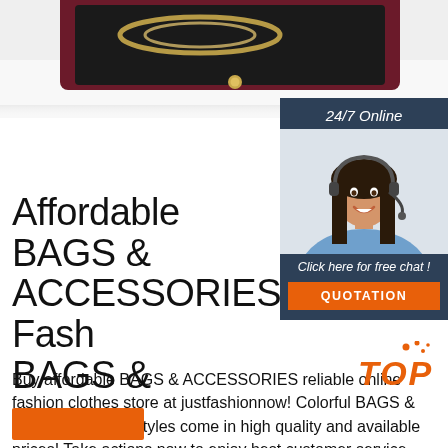[Figure (photo): Product photo of a dark maroon/burgundy jewelry box with gold jewelry pieces (chain/necklace) visible inside, on a white background. Partial view cropped at top.]
[Figure (photo): Chat widget showing a woman wearing a headset (customer service agent) with dark hair, smiling. Dark navy background widget with '24/7 Online' header, 'Click here for free chat!' text, and an orange 'QUOTATION' button.]
Affordable BAGS & ACCESSORIES, Fash BAGS &
Buy affordable BAGS & ACCESSORIES reliable online fashion clothes store at justfashionnow! Colorful BAGS & ACCE with more styles come in high quality and available prices! Take actions now to enjoy best customer service and fast shipment.
[Figure (logo): Orange 'TOP' badge with decorative dots above the text in orange color, bottom right area.]